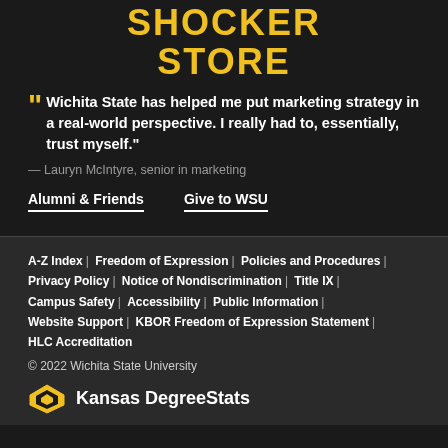SHOCKER STORE
" Wichita State has helped me put marketing strategy in a real-world perspective. I really had to, essentially, trust myself."
— Lauryn McIntyre, senior in marketing
Alumni & Friends    Give to WSU
A-Z Index | Freedom of Expression | Policies and Procedures | Privacy Policy | Notice of Nondiscrimination | Title IX | Campus Safety | Accessibility | Public Information | Website Support | KBOR Freedom of Expression Statement | HLC Accreditation
© 2022 Wichita State University
[Figure (logo): Kansas DegreeStats logo with diamond/arrow shape icon]